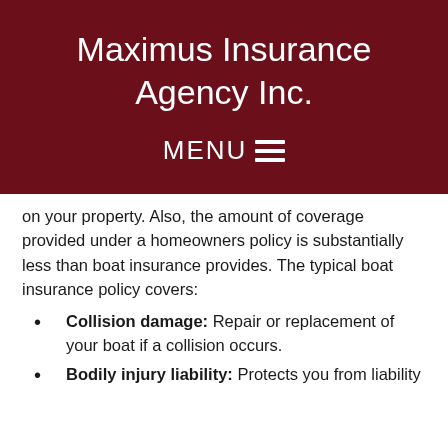Maximus Insurance Agency Inc.
MENU ≡
on your property. Also, the amount of coverage provided under a homeowners policy is substantially less than boat insurance provides. The typical boat insurance policy covers:
Collision damage: Repair or replacement of your boat if a collision occurs.
Bodily injury liability: Protects you from liability